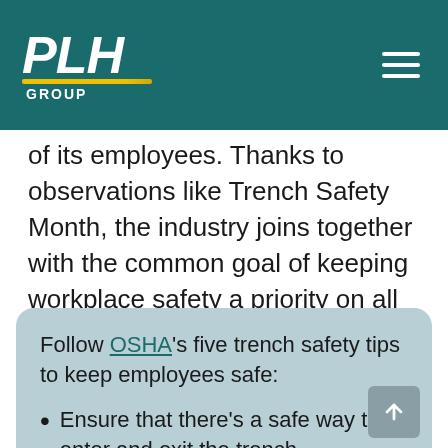[Figure (logo): PLH Group logo with white italic bold text and yellow underline swoosh on teal background, with hamburger menu icon on the right]
of its employees. Thanks to observations like Trench Safety Month, the industry joins together with the common goal of keeping workplace safety a priority on all energy construction job sites.
Follow OSHA's five trench safety tips to keep employees safe:
Ensure that there's a safe way to enter and exit the trench
Ensure trenches have cave-in protection